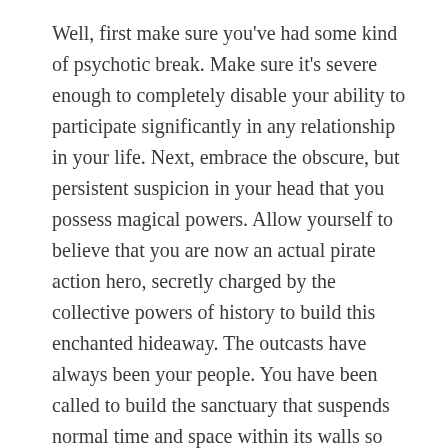Well, first make sure you've had some kind of psychotic break. Make sure it's severe enough to completely disable your ability to participate significantly in any relationship in your life. Next, embrace the obscure, but persistent suspicion in your head that you possess magical powers. Allow yourself to believe that you are now an actual pirate action hero, secretly charged by the collective powers of history to build this enchanted hideaway. The outcasts have always been your people. You have been called to build the sanctuary that suspends normal time and space within its walls so they can conduct their clandestine and awkward social rituals within the safety of the anthropologically appropriate diorama that only you can manifest.
The first necessary incantation for manifestation of